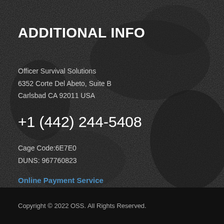ADDITIONAL INFO
Officer Survival Solutions
6352 Corte Del Abeto, Suite B
Carlsbad CA 92011 USA

+1 (442) 244-5408

Cage Code:6E7E0
DUNS: 967760823

Online Payment Service
Copyright © 2022 OSS. All Rights Reserved.